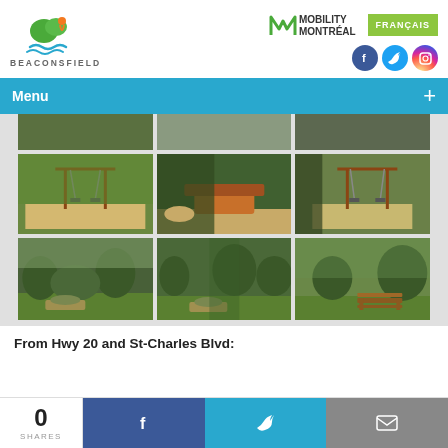[Figure (logo): Beaconsfield city logo with tree and person icon and water waves, text BEACONSFIELD below]
[Figure (logo): Mobility Montreal logo with green M icon and text MOBILITY MONTREAL, followed by green FRANÇAIS button]
[Figure (infographic): Social media icons: Facebook (blue circle), Twitter (blue circle), Instagram (gradient circle)]
Menu
[Figure (photo): Grid of park photos showing playground equipment with swings and sandboxes, and park landscape views. Two rows of three photos each, plus a partial top row.]
From Hwy 20 and St-Charles Blvd:
[Figure (infographic): Share bar: 0 SHARES count, Facebook share button, Twitter share button, Email share button]